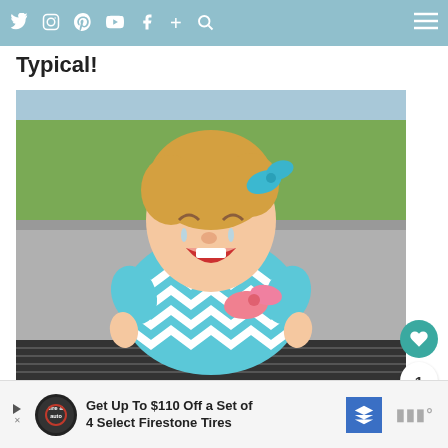social media navigation bar with icons: Twitter, Instagram, Pinterest, YouTube, Facebook, Plus, Search, Menu
Typical!
[Figure (photo): A toddler girl wearing a blue and white chevron dress with a pink bow, crying, outdoors on pavement with grass in background. She has a blue bow in her hair.]
Get Up To $110 Off a Set of 4 Select Firestone Tires